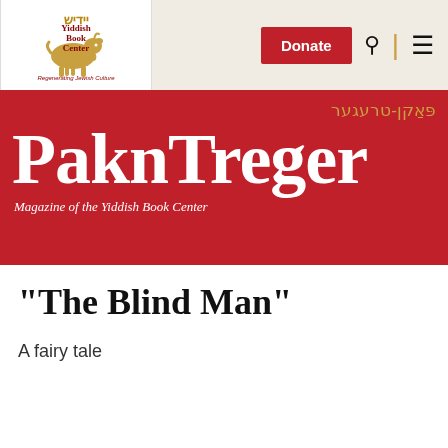[Figure (logo): Yiddish Book Center logo with golden goat and text 'Yiddish Book Center, Regenerating Jewish Culture']
Donate | search | menu
PaknTreger
פּאַקן-טרעגער
Magazine of the Yiddish Book Center
"The Blind Man"
A fairy tale